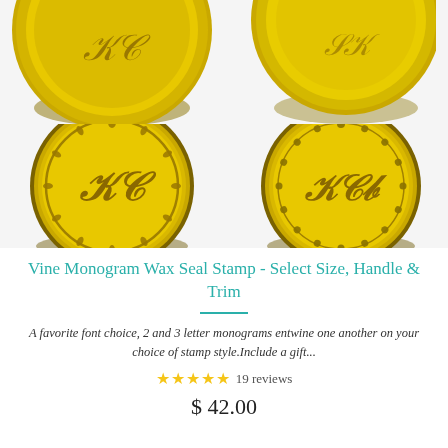[Figure (photo): Four gold wax seal stamp heads shown in a 2x2 grid. Top two are partially cropped circles showing monogram engravings. Bottom left is a large circular gold stamp with vine/floral border pattern and script monogram letters. Bottom right is a large circular gold stamp with dot border pattern and script monogram letters.]
Vine Monogram Wax Seal Stamp - Select Size, Handle & Trim
A favorite font choice, 2 and 3 letter monograms entwine one another on your choice of stamp style.Include a gift...
★★★★★ 19 reviews
$ 42.00